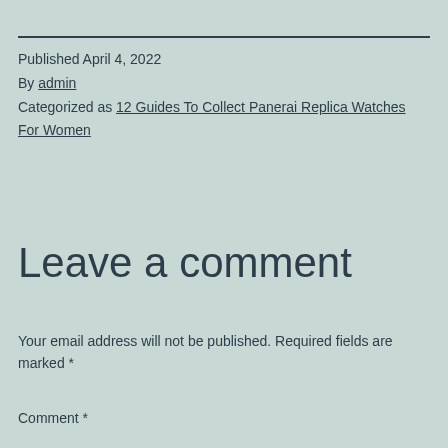Published April 4, 2022
By admin
Categorized as 12 Guides To Collect Panerai Replica Watches For Women
Leave a comment
Your email address will not be published. Required fields are marked *
Comment *